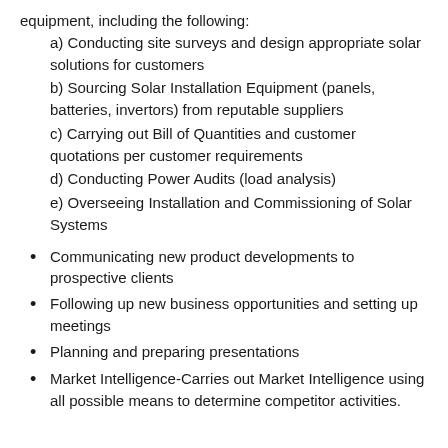equipment, including the following:
a) Conducting site surveys and design appropriate solar solutions for customers
b) Sourcing Solar Installation Equipment (panels, batteries, invertors) from reputable suppliers
c) Carrying out Bill of Quantities and customer quotations per customer requirements
d) Conducting Power Audits (load analysis)
e) Overseeing Installation and Commissioning of Solar Systems
Communicating new product developments to prospective clients
Following up new business opportunities and setting up meetings
Planning and preparing presentations
Market Intelligence-Carries out Market Intelligence using all possible means to determine competitor activities.